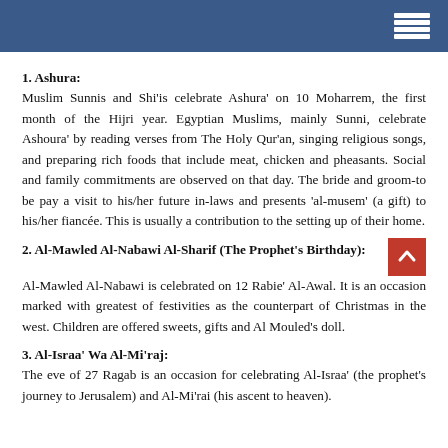1. Ashura:
Muslim Sunnis and Shi'is celebrate Ashura' on 10 Moharrem, the first month of the Hijri year. Egyptian Muslims, mainly Sunni, celebrate Ashoura' by reading verses from The Holy Qur'an, singing religious songs, and preparing rich foods that include meat, chicken and pheasants. Social and family commitments are observed on that day. The bride and groom-to be pay a visit to his/her future in-laws and presents 'al-musem' (a gift) to his/her fiancée. This is usually a contribution to the setting up of their home.
2. Al-Mawled Al-Nabawi Al-Sharif (The Prophet's Birthday):
Al-Mawled Al-Nabawi is celebrated on 12 Rabie' Al-Awal. It is an occasion marked with greatest of festivities as the counterpart of Christmas in the west. Children are offered sweets, gifts and Al Mouled's doll.
3. Al-Israa' Wa Al-Mi'raj:
The eve of 27 Ragab is an occasion for celebrating Al-Israa' (the prophet's journey to Jerusalem) and Al-Mi'rai (his ascent to heaven).